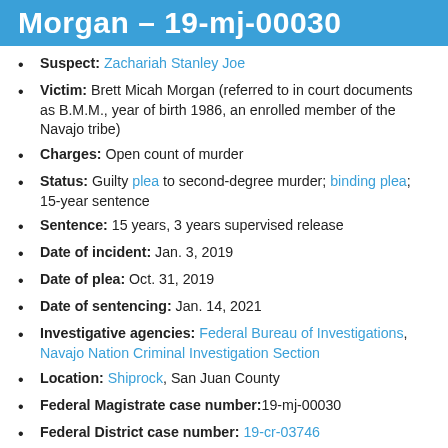Morgan - 19-mj-00030
Suspect: Zachariah Stanley Joe
Victim: Brett Micah Morgan (referred to in court documents as B.M.M., year of birth 1986, an enrolled member of the Navajo tribe)
Charges: Open count of murder
Status: Guilty plea to second-degree murder; binding plea; 15-year sentence
Sentence: 15 years, 3 years supervised release
Date of incident: Jan. 3, 2019
Date of plea: Oct. 31, 2019
Date of sentencing: Jan. 14, 2021
Investigative agencies: Federal Bureau of Investigations, Navajo Nation Criminal Investigation Section
Location: Shiprock, San Juan County
Federal Magistrate case number: 19-mj-00030
Federal District case number: 19-cr-03746